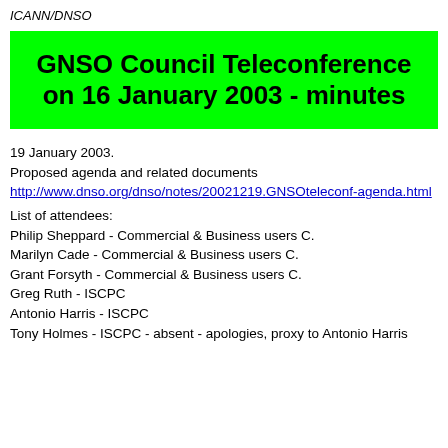ICANN/DNSO
GNSO Council Teleconference on 16 January 2003 - minutes
19 January 2003.
Proposed agenda and related documents http://www.dnso.org/dnso/notes/20021219.GNSOteleconf-agenda.html
List of attendees:
Philip Sheppard - Commercial & Business users C.
Marilyn Cade - Commercial & Business users C.
Grant Forsyth - Commercial & Business users C.
Greg Ruth - ISCPC
Antonio Harris - ISCPC
Tony Holmes - ISCPC - absent - apologies, proxy to Antonio Harris